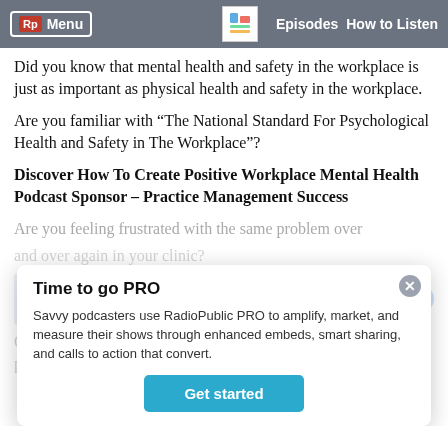workplace? | Rp Menu | Episodes | How to Listen
Did you know that mental health and safety in the workplace is just as important as physical health and safety in the workplace.
Are you familiar with “The National Standard For Psychological Health and Safety in The Workplace”?
Discover How To Create Positive Workplace Mental Health Podcast Sponsor – Practice Management Success
Are you feeling frustrated with the same problem over and over again in your clinic?
Or solving one problem only to have another one popping up?
Don’t know where to go for help?
Time to go PRO

Savvy podcasters use RadioPublic PRO to amplify, market, and measure their shows through enhanced embeds, smart sharing, and calls to action that convert.

Get started